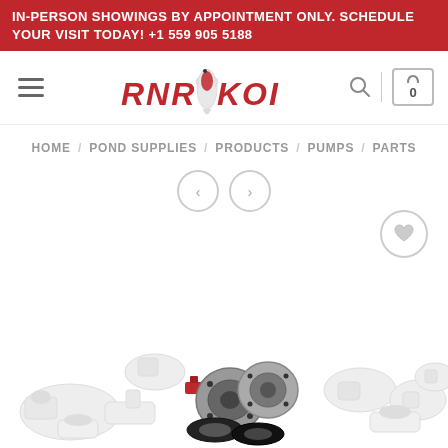IN-PERSON SHOWINGS BY APPOINTMENT ONLY. SCHEDULE YOUR VISIT TODAY! +1 559 905 5188
[Figure (logo): RNR KOI logo with a koi fish illustration between the words RNR and KOI in red italic bold text]
HOME / POND SUPPLIES / PRODUCTS / PUMPS / PARTS
[Figure (photo): Assorted white PVC pipe fittings, flanges, gaskets and connectors laid out on a white background — pump parts for pond supplies]